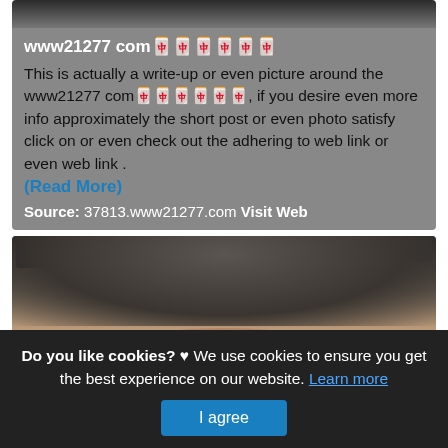[Figure (photo): Top portion of a person's dark hair, cropped at top of page]
www21277 com🀄🀄🀄🀄🀄🀄
This is actually a write-up or even picture around the www21277 com🀄🀄🀄🀄🀄🀄, if you desire even more info approximately the short post or even photo satisfy click on or even check out the adhering to web link or even web link .
(Read More)
Source: 37813.www21277.com Visit Web
[Figure (photo): Close-up photo of a person wearing a gray hooded garment, forehead visible]
Do you like cookies? ♥ We use cookies to ensure you get the best experience on our website. Learn more
I agree